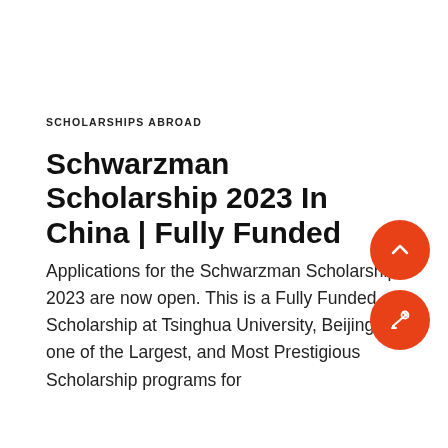SCHOLARSHIPS ABROAD
Schwarzman Scholarship 2023 In China | Fully Funded
Applications for the Schwarzman Scholarship 2023 are now open. This is a Fully Funded Scholarship at Tsinghua University, Beijing, one of the Largest, and Most Prestigious Scholarship programs for